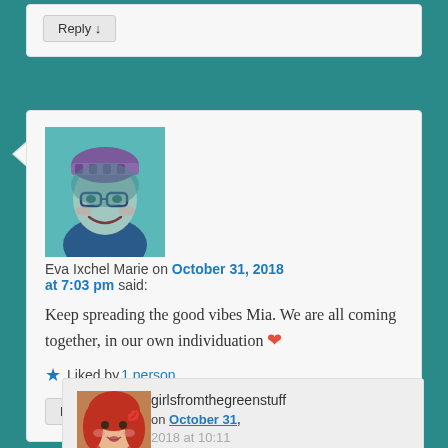Reply ↓
[Figure (photo): Avatar photo of Eva Ixchel Marie, illustrated/filtered portrait of a woman wearing glasses and a knit hat, teal/blue color tones]
Eva Ixchel Marie on October 31, 2018 at 7:03 pm said:
Keep spreading the good vibes Mia. We are all coming together, in our own individuation ❤
★ Liked by 1 person
Reply ↓
[Figure (photo): Avatar photo of girlsfromthegreenstuff, woman with red hair]
girlsfromthegreenstuff on October 31, 2018 at 10:11